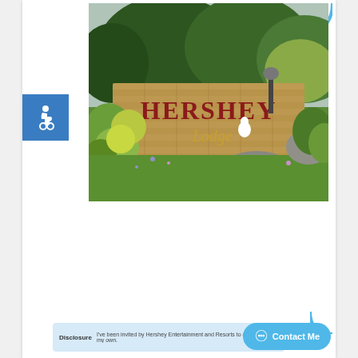[Figure (photo): Photograph of the Hershey Lodge entrance sign, a large brick wall sign reading 'HERSHEY Lodge' in raised lettering, surrounded by lush green landscaping, trees, shrubs, and flowering plants with rocks in the foreground.]
Disclosure: I've been invited by Hershey Entertainment and Resorts to attend a M... my own.
Contact Me